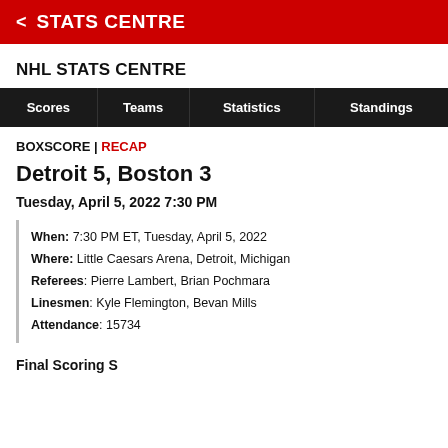< STATS CENTRE
NHL STATS CENTRE
| Scores | Teams | Statistics | Standings |
| --- | --- | --- | --- |
BOXSCORE | RECAP
Detroit 5, Boston 3
Tuesday, April 5, 2022 7:30 PM
When: 7:30 PM ET, Tuesday, April 5, 2022
Where: Little Caesars Arena, Detroit, Michigan
Referees: Pierre Lambert, Brian Pochmara
Linesmen: Kyle Flemington, Bevan Mills
Attendance: 15734
Final Scoring S...